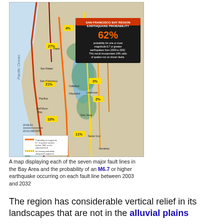[Figure (map): A map of the San Francisco Bay Area showing seven major fault lines with colored lines indicating earthquake probability. An inset box shows '62% probability for one or more magnitude 6.7 or greater earthquakes from 2003 to 2032. This result incorporates 14% odds of quakes not on shown faults.' Various fault segments are labeled with probabilities: 4%, 27%, 3%, 21%, 2%, 10%, 11%. Legend shows probability of magnitude 6.7 or greater quakes before 2032 on indicated fault, increasing probability along fault segments, and expanding urban areas in green.]
A map displaying each of the seven major fault lines in the Bay Area and the probability of an M6.7 or higher earthquake occurring on each fault line between 2003 and 2032
The region has considerable vertical relief in its landscapes that are not in the alluvial plains